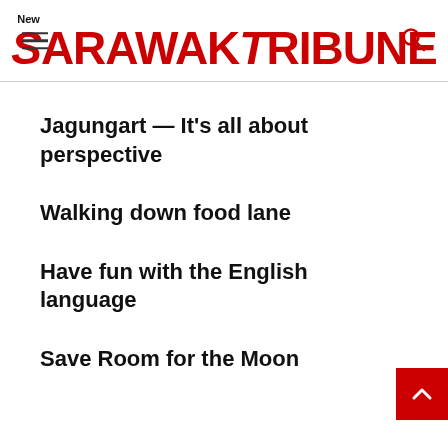New SarawakTribune
Jagungart — It's all about perspective
Walking down food lane
Have fun with the English language
Save Room for the Moon